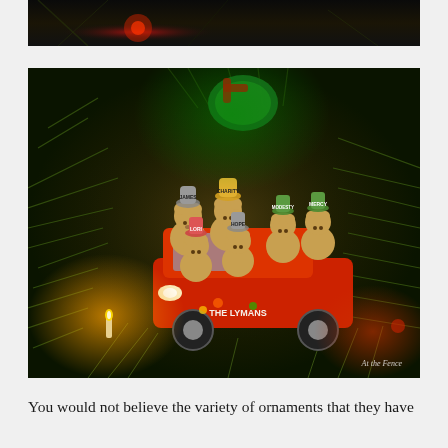[Figure (photo): Top portion of a Christmas tree photo with dark background and red/orange Christmas lights visible]
[Figure (photo): Close-up photo of a personalized Christmas ornament showing teddy bears riding in a red car/truck against a Christmas tree background with pine needles and warm lights. The bears wear hats labeled with names: James, Charity, Lori, Hope, Modesty, Mercy. The car reads 'THE LYMANS'. Watermark reads 'At the Fence'.]
You would not believe the variety of ornaments that they have